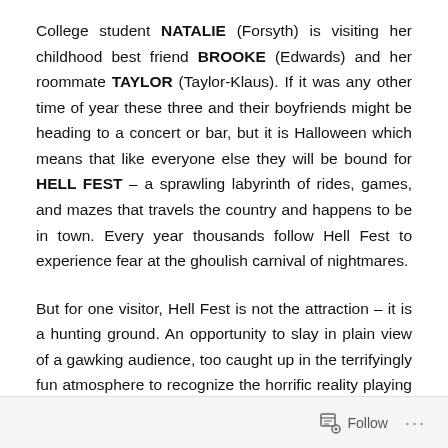College student NATALIE (Forsyth) is visiting her childhood best friend BROOKE (Edwards) and her roommate TAYLOR (Taylor-Klaus). If it was any other time of year these three and their boyfriends might be heading to a concert or bar, but it is Halloween which means that like everyone else they will be bound for HELL FEST – a sprawling labyrinth of rides, games, and mazes that travels the country and happens to be in town. Every year thousands follow Hell Fest to experience fear at the ghoulish carnival of nightmares.
But for one visitor, Hell Fest is not the attraction – it is a hunting ground. An opportunity to slay in plain view of a gawking audience, too caught up in the terrifyingly fun atmosphere to recognize the horrific reality playing out
Follow